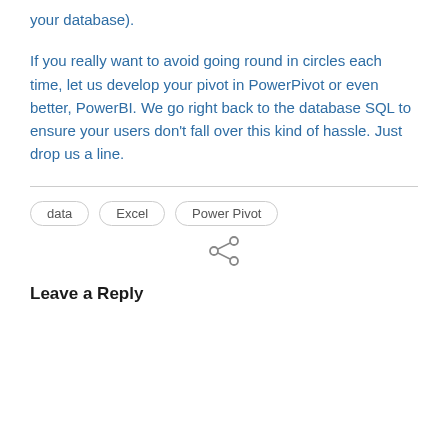your database).
If you really want to avoid going round in circles each time, let us develop your pivot in PowerPivot or even better, PowerBI. We go right back to the database SQL to ensure your users don't fall over this kind of hassle. Just drop us a line.
data
Excel
Power Pivot
[Figure (other): Share icon (network/social sharing symbol)]
Leave a Reply